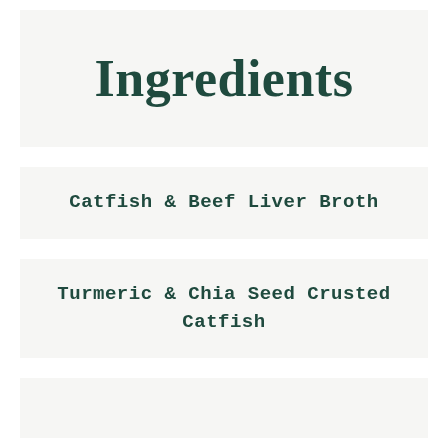Ingredients
Catfish & Beef Liver Broth
Turmeric & Chia Seed Crusted Catfish